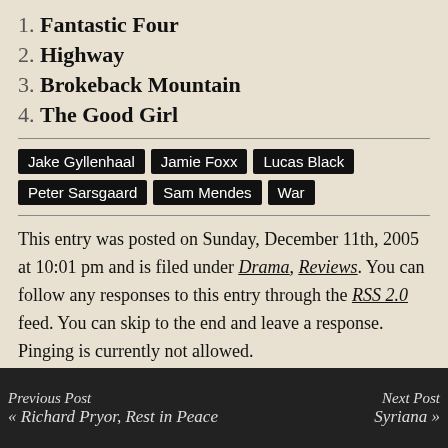1. Fantastic Four
2. Highway
3. Brokeback Mountain
4. The Good Girl
Jake Gyllenhaal  Jamie Foxx  Lucas Black  Peter Sarsgaard  Sam Mendes  War
This entry was posted on Sunday, December 11th, 2005 at 10:01 pm and is filed under Drama, Reviews. You can follow any responses to this entry through the RSS 2.0 feed. You can skip to the end and leave a response. Pinging is currently not allowed.
Previous Post  « Richard Pryor, Rest in Peace    Next Post  Syriana »